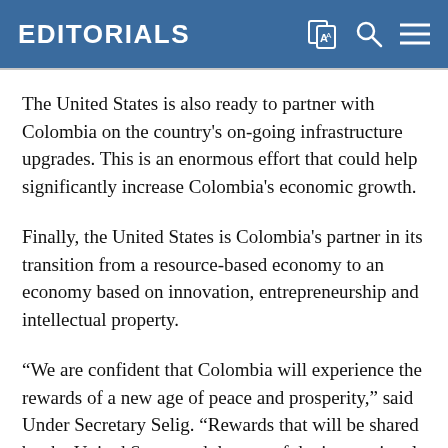EDITORIALS
The United States is also ready to partner with Colombia on the country’s on-going infrastructure upgrades. This is an enormous effort that could help significantly increase Colombia’s economic growth.
Finally, the United States is Colombia’s partner in its transition from a resource-based economy to an economy based on innovation, entrepreneurship and intellectual property.
“We are confident that Colombia will experience the rewards of a new age of peace and prosperity,” said Under Secretary Selig. “Rewards that will be shared by the United States and the rest of the international community.”